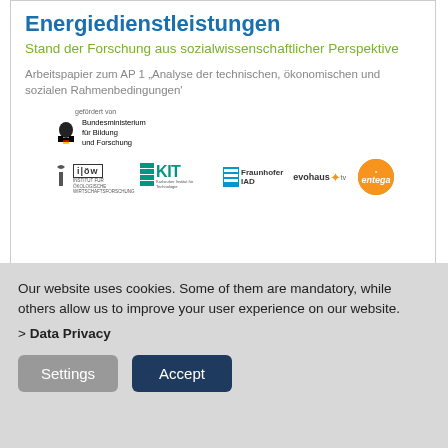[Figure (screenshot): Document cover card showing title 'Energiedienstleistungen', subtitle in green 'Stand der Forschung aus sozialwissenschaftlicher Perspektive', grey subtitle text, and logos of BMBF, iöw, KIT, Fraunhofer IAD, evohaus, and entega]
Energiedienstleistungen
Stand der Forschung aus sozialwissenschaftlicher Perspektive
Arbeitspapier zum AP 1 'Analyse der technischen, ökonomischen und sozialen Rahmenbedingungen'
Report
> More
Our website uses cookies. Some of them are mandatory, while others allow us to improve your user experience on our website.
> Data Privacy
Settings
Accept